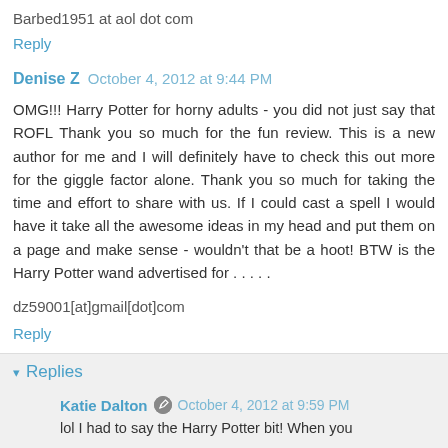Barbed1951 at aol dot com
Reply
Denise Z  October 4, 2012 at 9:44 PM
OMG!!! Harry Potter for horny adults - you did not just say that ROFL Thank you so much for the fun review. This is a new author for me and I will definitely have to check this out more for the giggle factor alone. Thank you so much for taking the time and effort to share with us. If I could cast a spell I would have it take all the awesome ideas in my head and put them on a page and make sense - wouldn't that be a hoot! BTW is the Harry Potter wand advertised for . . . . .
dz59001[at]gmail[dot]com
Reply
Replies
Katie Dalton  October 4, 2012 at 9:59 PM
lol I had to say the Harry Potter bit! When you